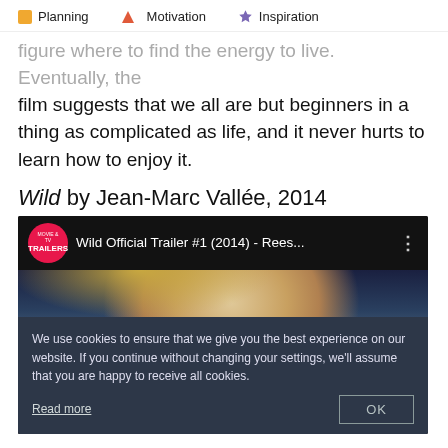Planning  Motivation  Inspiration
figure where to find the energy to live. Eventually, the film suggests that we all are but beginners in a thing as complicated as life, and it never hurts to learn how to enjoy it.
Wild by Jean-Marc Vallée, 2014
[Figure (screenshot): YouTube video thumbnail for 'Wild Official Trailer #1 (2014) - Rees...' with a cookie consent overlay reading: 'We use cookies to ensure that we give you the best experience on our website. If you continue without changing your settings, we'll assume that you are happy to receive all cookies.' with a 'Read more' link and an 'OK' button.]